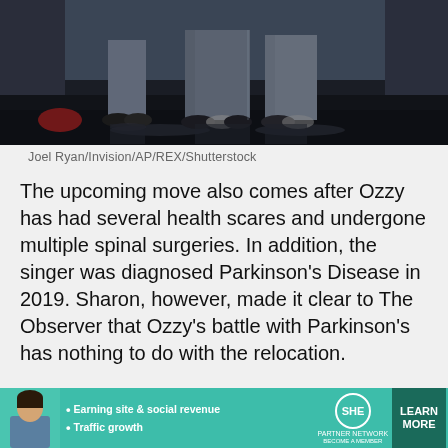[Figure (photo): Photo of people's legs/feet standing on a dark reflective stage floor, taken from waist down]
Joel Ryan/Invision/AP/REX/Shutterstock
The upcoming move also comes after Ozzy has had several health scares and undergone multiple spinal surgeries. In addition, the singer was diagnosed Parkinson's Disease in 2019. Sharon, however, made it clear to The Observer that Ozzy's battle with Parkinson's has nothing to do with the relocation.
"I knew people would think that. It's not. It's just time."
[Figure (other): SHE Partner Network advertisement banner with woman photo, bullet points about earning site & social revenue and traffic growth, SHE logo, and LEARN MORE button]